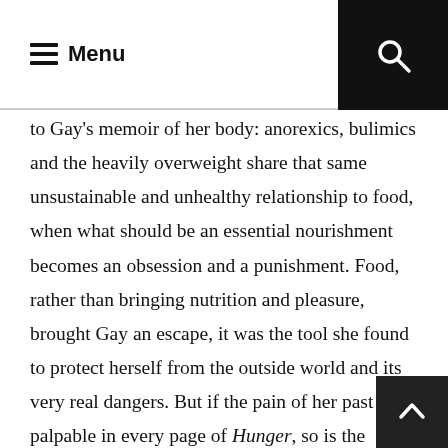Menu
to Gay's memoir of her body: anorexics, bulimics and the heavily overweight share that same unsustainable and unhealthy relationship to food, when what should be an essential nourishment becomes an obsession and a punishment. Food, rather than bringing nutrition and pleasure, brought Gay an escape, it was the tool she found to protect herself from the outside world and its very real dangers. But if the pain of her past is palpable in every page of Hunger, so is the compassion that Gay has been able to achieve through enormous hard work at accepting her past, and in turn, her body.
This is not an indulgent, tell-all book. This is a measured work of self-study and observation, a treatise in how to be kind ourselves, of reconciling body and mind, body and soul, to be…